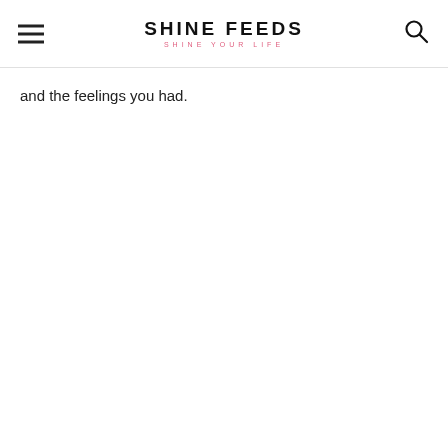SHINE FEEDS
SHINE YOUR LIFE
and the feelings you had.